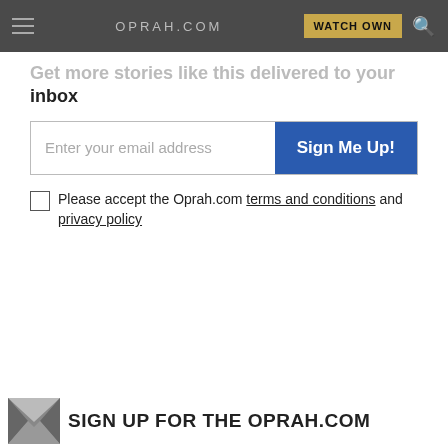OPRAH.COM | WATCH OWN
Get more stories like this delivered to your inbox
[Figure (screenshot): Email signup form with input field 'Enter your email address' and blue 'Sign Me Up!' button]
Please accept the Oprah.com terms and conditions and privacy policy
SIGN UP FOR THE OPRAH.COM